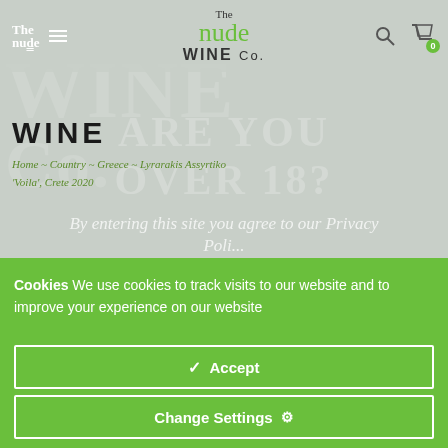The nude WINE Co.
WINE
Home ~ Country ~ Greece ~ Lyrarakis Assyrtiko 'Voila', Crete 2020
ARE YOU OVER 18?
By entering this site you agree to our Privacy Policy
Cookies We use cookies to track visits to our website and to improve your experience on our website
✓ Accept
Change Settings ⚙